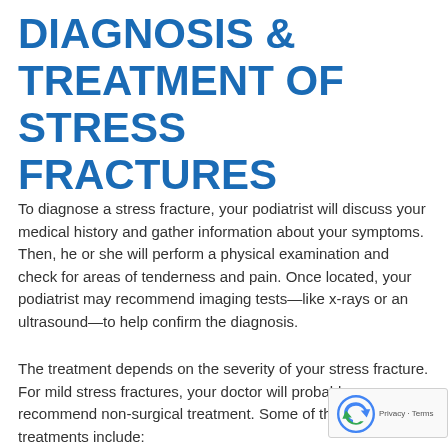DIAGNOSIS & TREATMENT OF STRESS FRACTURES
To diagnose a stress fracture, your podiatrist will discuss your medical history and gather information about your symptoms. Then, he or she will perform a physical examination and check for areas of tenderness and pain. Once located, your podiatrist may recommend imaging tests—like x-rays or an ultrasound—to help confirm the diagnosis.
The treatment depends on the severity of your stress fracture. For mild stress fractures, your doctor will probably recommend non-surgical treatment. Some of these treatments include: